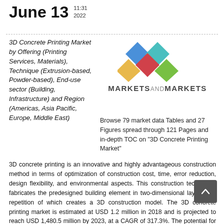June 13  11:31  2022
3D Concrete Printing Market by Offering (Printing Services, Materials), Technique (Extrusion-based, Powder-based), End-use sector (Building, Infrastructure) and Region (Americas, Asia Pacific, Europe, Middle East)
[Figure (logo): MarketsAndMarkets logo — four diamond shapes in blue, teal, red/pink, yellow-gold, green arranged in a 2x2+1 pattern; below: MARKETSANDMARKETS wordmark]
Browse 79 market data Tables and 27 Figures spread through 121 Pages and in-depth TOC on “3D Concrete Printing Market”
3D concrete printing is an innovative and highly advantageous construction method in terms of optimization of construction cost, time, error reduction, design flexibility, and environmental aspects. This construction technology fabricates the predesigned building element in two-dimensional layers; the repetition of which creates a 3D construction model. The 3D concrete printing market is estimated at USD 1.2 million in 2018 and is projected to reach USD 1,480.5 million by 2023, at a CAGR of 317.3%. The potential for mass customization and enhanced architectural flexibility, and rise in